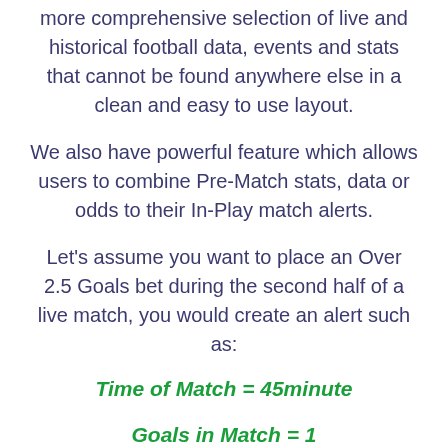more comprehensive selection of live and historical football data, events and stats that cannot be found anywhere else in a clean and easy to use layout.
We also have powerful feature which allows users to combine Pre-Match stats, data or odds to their In-Play match alerts.
Let's assume you want to place an Over 2.5 Goals bet during the second half of a live match, you would create an alert such as:
Time of Match = 45minute
Goals in Match = 1